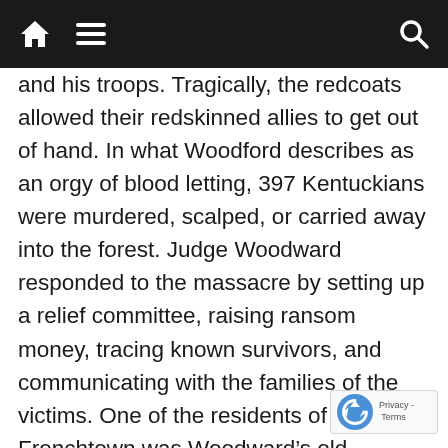[Navigation bar with home icon, menu icon, and search icon]
and his troops. Tragically, the redcoats allowed their redskinned allies to get out of hand. In what Woodford describes as an orgy of blood letting, 397 Kentuckians were murdered, scalped, or carried away into the forest. Judge Woodward responded to the massacre by setting up a relief committee, raising ransom money, tracing known survivors, and communicating with the families of the victims. One of the residents of Frenchtown was Woodward’s old adversary, Whitmore Knaggs. After the battle, Knaggs was indicted by the British for violating his parole by bearing arms against the British at Frenchtown. In spite of their former animosity, Judge Woodward stepped forward to make an eloquent and effect… defense of Knaggs, whom incidentally he called a… ignorant and turbulent man. But Woodward obtained